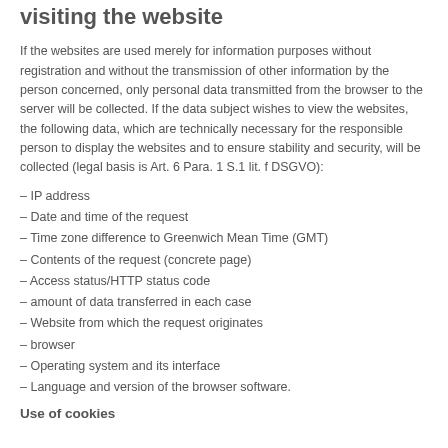visiting the website
If the websites are used merely for information purposes without registration and without the transmission of other information by the person concerned, only personal data transmitted from the browser to the server will be collected. If the data subject wishes to view the websites, the following data, which are technically necessary for the responsible person to display the websites and to ensure stability and security, will be collected (legal basis is Art. 6 Para. 1 S.1 lit. f DSGVO):
– IP address
– Date and time of the request
– Time zone difference to Greenwich Mean Time (GMT)
– Contents of the request (concrete page)
– Access status/HTTP status code
– amount of data transferred in each case
– Website from which the request originates
– browser
– Operating system and its interface
– Language and version of the browser software.
Use of cookies